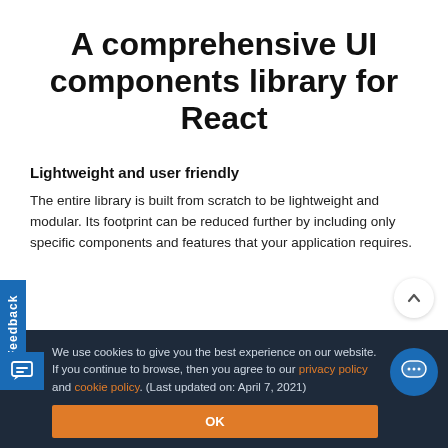A comprehensive UI components library for React
Lightweight and user friendly
The entire library is built from scratch to be lightweight and modular. Its footprint can be reduced further by including only specific components and features that your application requires.
We use cookies to give you the best experience on our website. If you continue to browse, then you agree to our privacy policy and cookie policy.  (Last updated on: April 7, 2021)